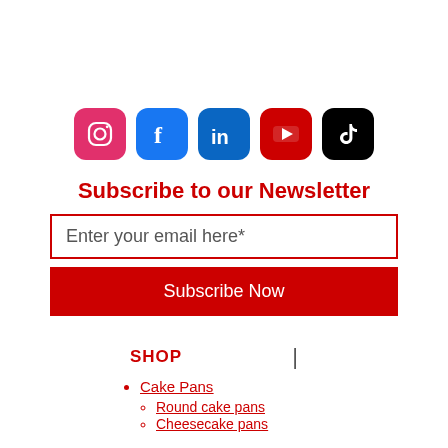[Figure (illustration): Row of five social media icons: Instagram (pink/red rounded square), Facebook (blue rounded square), LinkedIn (blue rounded square), YouTube (red rounded square), TikTok (black rounded square)]
Subscribe to our Newsletter
Enter your email here*
Subscribe Now
SHOP
Cake Pans
Round cake pans
Cheesecake pans